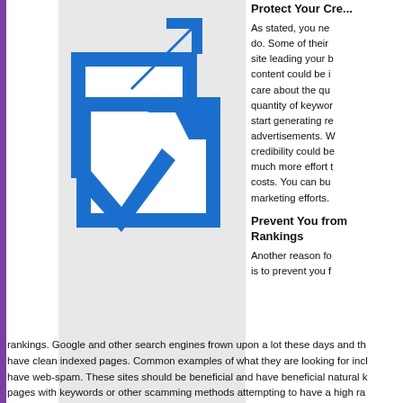Protect Your Cre...
As stated, you ne... do. Some of their ... site leading your b... content could be i... care about the qu... quantity of keywor... start generating re... advertisements. W... credibility could be... much more effort t... costs. You can bu... marketing efforts.
[Figure (illustration): Blue arrow/link icon graphic on grey background — two overlapping shapes: a square frame with an arrow pointing upper-right (external link icon) and a checkmark/zigzag arrow, all in blue on white, set on light grey background.]
Johan Fredrik Höckert (Photo credit: Wikipedia)
Prevent You from Rankings
Another reason fo... is to prevent you f... rankings. Google and other search engines frown upon a lot these days and th... have clean indexed pages. Common examples of what they are looking for incl... have web-spam. These sites should be beneficial and have beneficial natural k... pages with keywords or other scamming methods attempting to have a high ra... useful content on their pages.